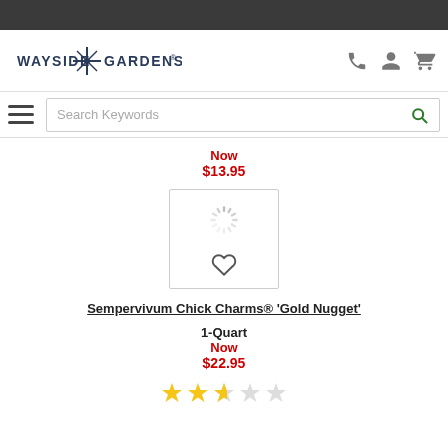[Figure (logo): Wayside Gardens logo with windmill icon]
Search Keywords
Now
$13.95
[Figure (photo): Product image loading spinner with heart icon]
Sempervivum Chick Charms® 'Gold Nugget'
1-Quart
Now
$22.95
[Figure (other): Star rating: approximately 2.5 out of 5 stars]